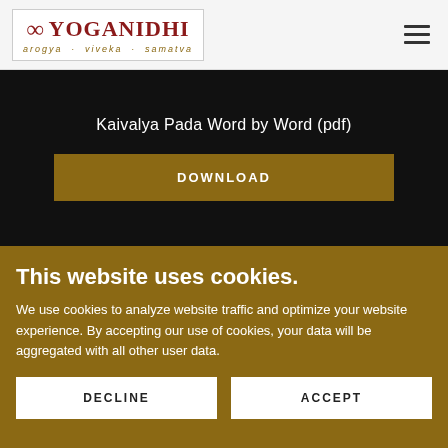[Figure (logo): YogaNidhi logo with infinity symbol and tagline 'arogya . viveka . samatva']
Kaivalya Pada Word by Word (pdf)
DOWNLOAD
This website uses cookies.
We use cookies to analyze website traffic and optimize your website experience. By accepting our use of cookies, your data will be aggregated with all other user data.
DECLINE
ACCEPT